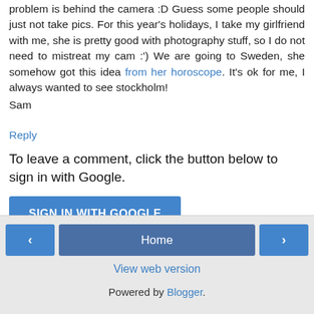problem is behind the camera :D Guess some people should just not take pics. For this year's holidays, I take my girlfriend with me, she is pretty good with photography stuff, so I do not need to mistreat my cam :') We are going to Sweden, she somehow got this idea from her horoscope. It's ok for me, I always wanted to see stockholm!
Sam
Reply
To leave a comment, click the button below to sign in with Google.
SIGN IN WITH GOOGLE
‹  Home  ›
View web version
Powered by Blogger.